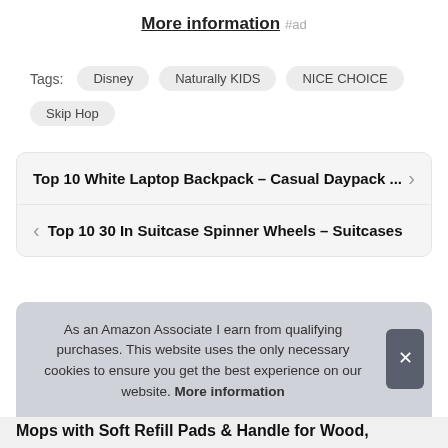More information #ad
Tags: Disney  Naturally KIDS  NICE CHOICE  Skip Hop
Top 10 White Laptop Backpack – Casual Daypack ... >
< Top 10 30 In Suitcase Spinner Wheels – Suitcases
As an Amazon Associate I earn from qualifying purchases. This website uses the only necessary cookies to ensure you get the best experience on our website. More information
Mops with Soft Refill Pads & Handle for Wood,